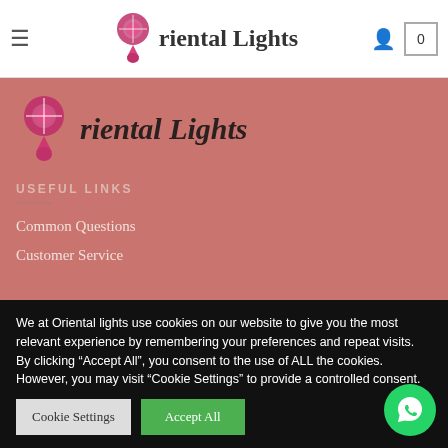Oriental Lights — navigation bar with hamburger menu, logo, user icon, cart (0)
[Figure (logo): Oriental Lights brand logo with decorative pink lantern gem icon and brand name text in pink section]
USEFUL LINKS
Common Questions
Customer Service
We at Oriental lights use cookies on our website to give you the most relevant experience by remembering your preferences and repeat visits. By clicking “Accept All”, you consent to the use of ALL the cookies. However, you may visit “Cookie Settings” to provide a controlled consent.
Cookie Settings | Accept All